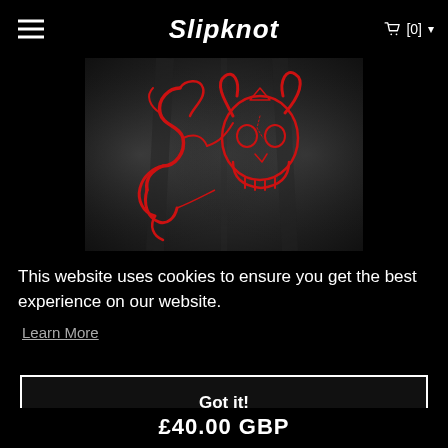Slipknot [0]
[Figure (photo): Close-up of a black t-shirt featuring a red Slipknot tribal logo and goat skull graphic design]
This website uses cookies to ensure you get the best experience on our website.
Learn More
Got it!
£40.00 GBP